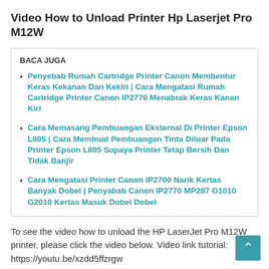Video How to Unload Printer Hp Laserjet Pro M12W
BACA JUGA
Penyebab Rumah Cartridge Printer Canon Membentur Keras Kekanan Dan Kekiri | Cara Mengatasi Rumah Cartridge Printer Canon IP2770 Menabrak Keras Kanan Kiri
Cara Memasang Pembuangan Eksternal Di Printer Epson L805 | Cara Membuat Pembuangan Tinta Diluar Pada Printer Epson L805 Supaya Printer Tetap Bersih Dan Tidak Banjir
Cara Mengatasi Printer Canon IP2700 Narik Kertas Banyak Dobel | Penyabab Canon IP2770 MP287 G1010 G2010 Kertas Masuk Dobel Dobel
To see the video how to unload the HP LaserJet Pro M12W printer, please click the video below. Video link tutorial: https://youtu.be/xzdd5ffzrgw